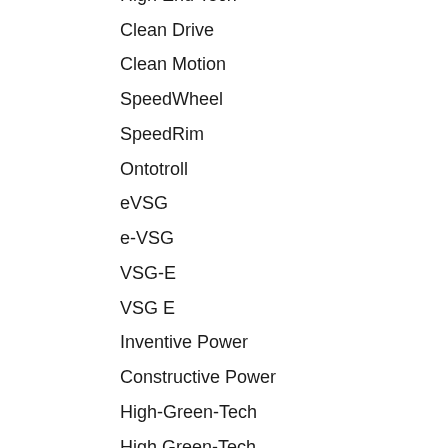High End Tech
Clean Drive
Clean Motion
SpeedWheel
SpeedRim
Ontotroll
eVSG
e-VSG
VSG-E
VSG E
Inventive Power
Constructive Power
High-Green-Tech
High Green-Tech
High Green Tech
High GreenTech
HighGreenTech
Green-Tech-Competence
Green-Tech Competence
Green Tech Competence
GreenTech Competence
GreenTechCompetence
Green-Tech-Kompetenz
Green-Tech Kompetenz
Green Tech Kompetenz
GreenTech Kompetenz
GreenTechKompetenz
Green-High-Tech
Green High-Tech
Green High Tech
Green HighTech